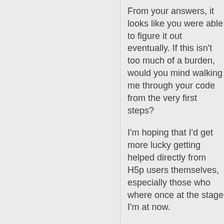From your answers, it looks like you were able to figure it out eventually. If this isn't too much of a burden, would you mind walking me through your code from the very first steps?
I'm hoping that I'd get more lucky getting helped directly from H5p users themselves, especially those who where once at the stage I'm at now.